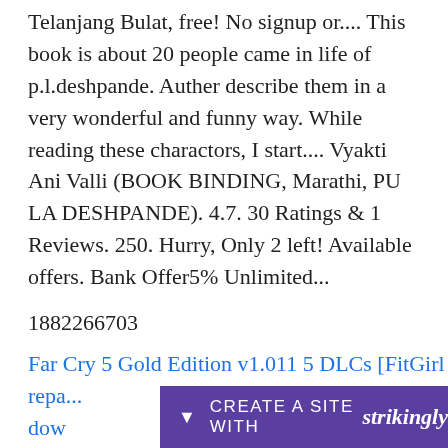Telanjang Bulat, free! No signup or.... This book is about 20 people came in life of p.l.deshpande. Auther describe them in a very wonderful and funny way. While reading these charactors, I start.... Vyakti Ani Valli (BOOK BINDING, Marathi, PU LA DESHPANDE). 4.7. 30 Ratings & 1 Reviews. 250. Hurry, Only 2 left! Available offers. Bank Offer5% Unlimited...
1882266703
Far Cry 5 Gold Edition v1.011 5 DLCs [FitGirl repa... dow...
[Figure (screenshot): Strikingly website builder promotional banner bar at the bottom of the page, purple background, showing a downward arrow, 'CREATE A SITE WITH' text, and 'strikingly' italic bold brand name in white.]